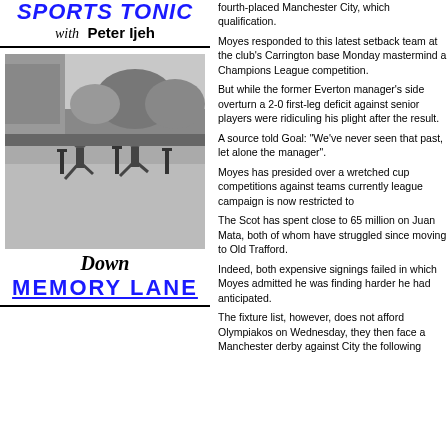SPORTS TONIC with Peter Ijeh
[Figure (photo): Black and white photograph of athletes competing in a hurdles race at an outdoor track event, with spectators visible in the background.]
Down MEMORY LANE
fourth-placed Manchester City, which qualification.
Moyes responded to this latest setback team at the club's Carrington base Me mastermind a Champions League con But while the former Everton manage side overturn a 2-0 first-leg deficit aga senior players were ridiculing his plig the result.
A source told Goal: "We've never see past, let alone the manager".
Moyes has presided over a wretched cup competitions against teams curre league campaign is now restricted to
The Scot has spent close to 65 millio Juan Mata, both of whom have strugg moving to Old Trafford.
Indeed, both expensive signings faile which Moyes admitted he was finding he had anticipated.
The fixture list, however, does not affo Olympiakos on Wednesday, they ther Manchester derby against City the fol